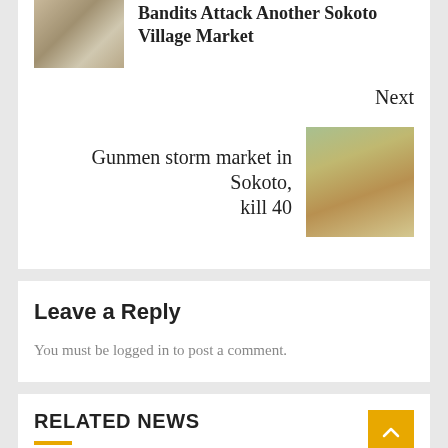Bandits Attack Another Sokoto Village Market
Next
Gunmen storm market in Sokoto, kill 40
Leave a Reply
You must be logged in to post a comment.
RELATED NEWS